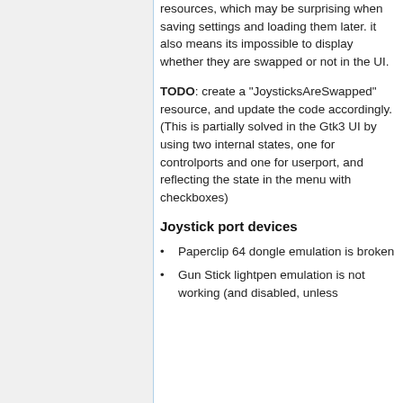resources, which may be surprising when saving settings and loading them later. it also means its impossible to display whether they are swapped or not in the UI.
TODO: create a "JoysticksAreSwapped" resource, and update the code accordingly. (This is partially solved in the Gtk3 UI by using two internal states, one for controlports and one for userport, and reflecting the state in the menu with checkboxes)
Joystick port devices
Paperclip 64 dongle emulation is broken
Gun Stick lightpen emulation is not working (and disabled, unless